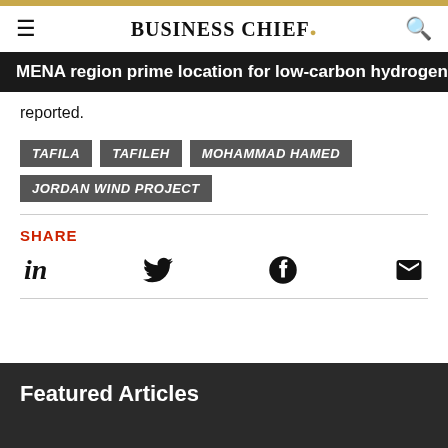BUSINESS CHIEF
MENA region prime location for low-carbon hydrogen – CE
reported.
TAFILA
TAFILEH
MOHAMMAD HAMED
JORDAN WIND PROJECT
SHARE
[Figure (infographic): Social share icons: LinkedIn, Twitter, Facebook, Email]
Featured Articles